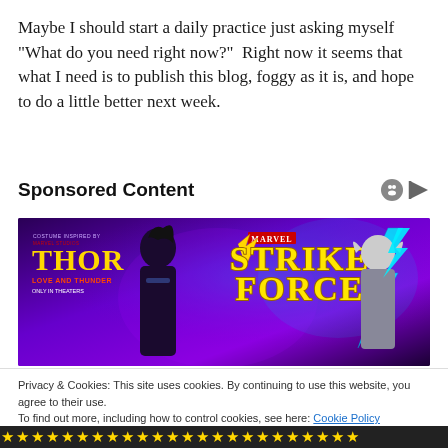Maybe I should start a daily practice just asking myself “What do you need right now?”  Right now it seems that what I need is to publish this blog, foggy as it is, and hope to do a little better next week.
Sponsored Content
[Figure (illustration): Marvel Strike Force game advertisement banner featuring two animated characters (Valkyrie and female Thor) against a purple/violet background with the Marvel Strike Force logo and Thor: Love and Thunder branding]
Privacy & Cookies: This site uses cookies. By continuing to use this website, you agree to their use.
To find out more, including how to control cookies, see here: Cookie Policy
[Figure (other): Stars bar at the bottom of the page showing gold star ratings]